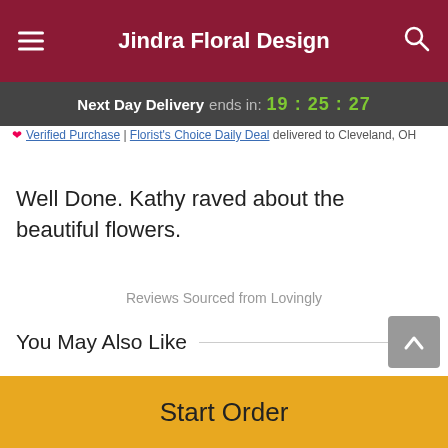Jindra Floral Design
Next Day Delivery ends in: 19:25:27
Verified Purchase | Florist's Choice Daily Deal delivered to Cleveland, OH
Well Done. Kathy raved about the beautiful flowers.
Reviews Sourced from Lovingly
You May Also Like
[Figure (photo): Red rose flower arrangement on left side]
[Figure (photo): Dozen red roses bouquet with baby's breath on right side]
Start Order